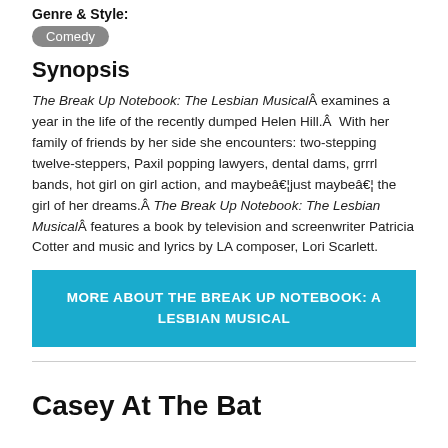Genre & Style:
Comedy
Synopsis
The Break Up Notebook: The Lesbian MusicalÂ examines a year in the life of the recently dumped Helen Hill.Â  With her family of friends by her side she encounters: two-stepping twelve-steppers, Paxil popping lawyers, dental dams, grrrl bands, hot girl on girl action, and maybeâ€…just maybeâ€… the girl of her dreams.Â The Break Up Notebook: The Lesbian MusicalÂ features a book by television and screenwriter Patricia Cotter and music and lyrics by LA composer, Lori Scarlett.
MORE ABOUT THE BREAK UP NOTEBOOK: A LESBIAN MUSICAL
Casey At The Bat